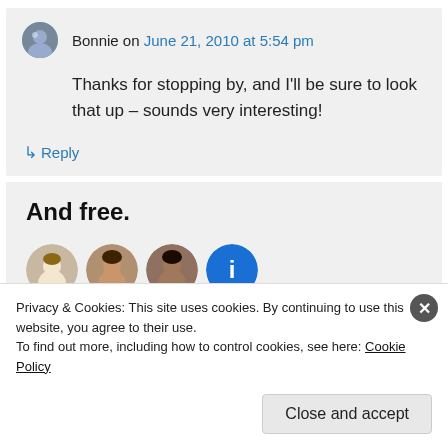Bonnie on June 21, 2010 at 5:54 pm
Thanks for stopping by, and I'll be sure to look that up – sounds very interesting!
↳ Reply
[Figure (screenshot): Advertisement banner with bold text 'And free.' and four circular user avatar images below]
Privacy & Cookies: This site uses cookies. By continuing to use this website, you agree to their use. To find out more, including how to control cookies, see here: Cookie Policy
Close and accept